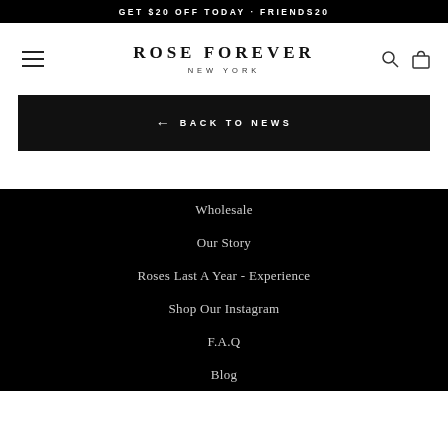GET $20 OFF TODAY · FRIENDS20
ROSE FOREVER NEW YORK
← BACK TO NEWS
Wholesale
Our Story
Roses Last A Year - Experience
Shop Our Instagram
F.A.Q
Blog